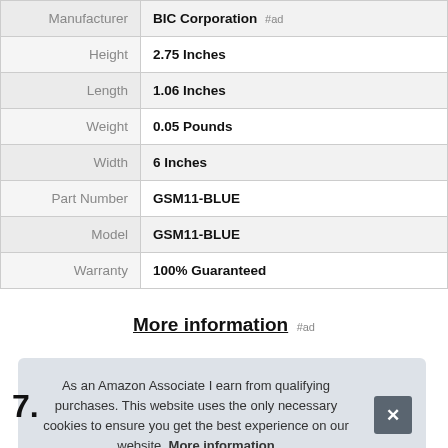| Attribute | Value |
| --- | --- |
| Manufacturer | BIC Corporation #ad |
| Height | 2.75 Inches |
| Length | 1.06 Inches |
| Weight | 0.05 Pounds |
| Width | 6 Inches |
| Part Number | GSM11-BLUE |
| Model | GSM11-BLUE |
| Warranty | 100% Guaranteed |
More information #ad
As an Amazon Associate I earn from qualifying purchases. This website uses the only necessary cookies to ensure you get the best experience on our website. More information
7.